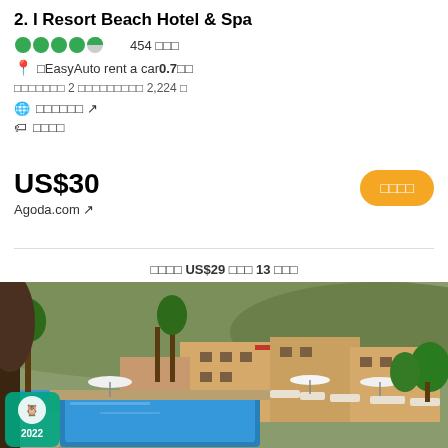2. I Resort Beach Hotel & Spa
454 reviews, 4.5 stars rating
IEasyAuto rent a car 0.7
2 reviews, 2,224
website link
card info
US$30
Agoda.com
book button
lowest US$29 from 13 sites
[Figure (photo): Hotel resort photo showing outdoor pool area with lounge chairs, umbrellas, palm trees, surrounding buildings with warm terracotta tones, and mountain/hillside in background. TripAdvisor 2022 award badge visible in lower left corner.]